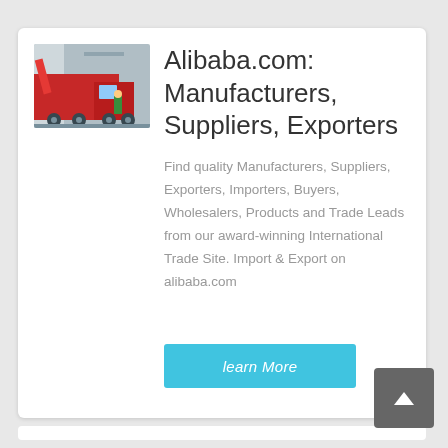[Figure (photo): Photo of red industrial/garbage trucks in a yard or loading area, with a person in green visible]
Alibaba.com: Manufacturers, Suppliers, Exporters
Find quality Manufacturers, Suppliers, Exporters, Importers, Buyers, Wholesalers, Products and Trade Leads from our award-winning International Trade Site. Import & Export on alibaba.com